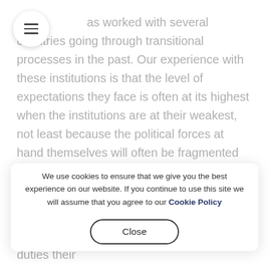as worked with several countries going through transitional processes in the past. Our experience with these institutions is that the level of expectations they face is often at its highest when the institutions are at their weakest, not least because the political forces at hand themselves will often be fragmented during these periods of uncertainty. The diversity of visions
We use cookies to ensure that we give you the best experience on our website. If you continue to use this site we will assume that you agree to our Cookie Policy
Close
different goals and understandings of what duties their